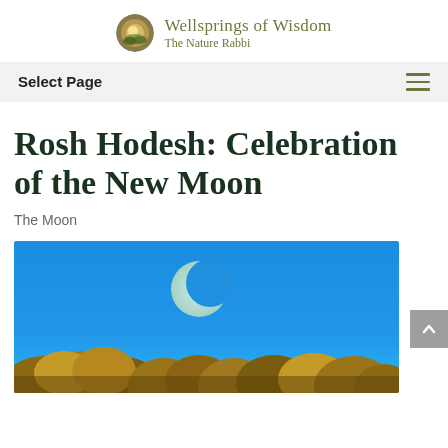Wellsprings of Wisdom — The Nature Rabbi
Rosh Hodesh: Celebration of the New Moon
The Moon
[Figure (photo): A crescent moon visible in a bright blue sky above tree tops with autumn foliage]